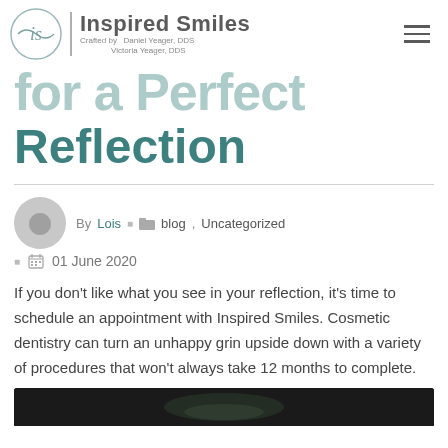Inspired Smiles — Crafted by Daniel Yeager, DDS | Victoria Yeager, DDS
for a Perfect Reflection
By Lois  •  blog, Uncategorized  •  01 June 2020
If you don't like what you see in your reflection, it's time to schedule an appointment with Inspired Smiles. Cosmetic dentistry can turn an unhappy grin upside down with a variety of procedures that won't always take 12 months to complete.
[Figure (photo): Partial bottom image strip showing a dark photo, likely a person smiling or dental-related image]